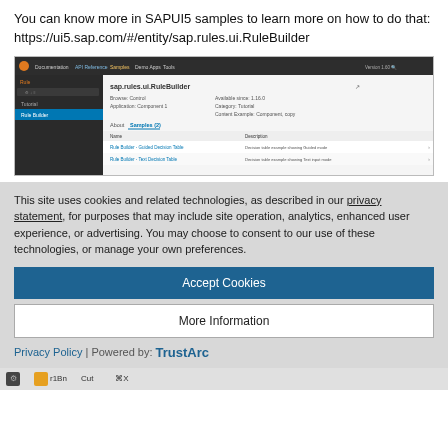You can know more in SAPUI5 samples to learn more on how to do that:
https://ui5.sap.com/#/entity/sap.rules.ui.RuleBuilder
[Figure (screenshot): SAPUI5 documentation page screenshot showing sap.rules.ui.RuleBuilder with navigation sidebar (Tutorial, Rule Builder) and a content panel displaying samples with 'About' and 'Samples (2)' tabs, listing 'Rule Builder - Guided Decision Table' and 'Rule Builder - Text Decision Table' entries.]
This site uses cookies and related technologies, as described in our privacy statement, for purposes that may include site operation, analytics, enhanced user experience, or advertising. You may choose to consent to our use of these technologies, or manage your own preferences.
Accept Cookies
More Information
Privacy Policy | Powered by: TrustArc